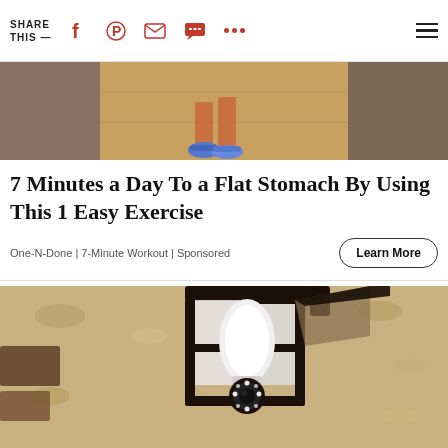SHARE THIS —
[Figure (photo): Cropped image showing a person's feet in sneakers walking on a wooden floor]
7 Minutes a Day To a Flat Stomach By Using This 1 Easy Exercise
One-N-Done | 7-Minute Workout | Sponsored
Learn More
[Figure (photo): Photo of a black outdoor wall lantern with a security camera light bulb installed inside it, mounted on a textured stucco wall]